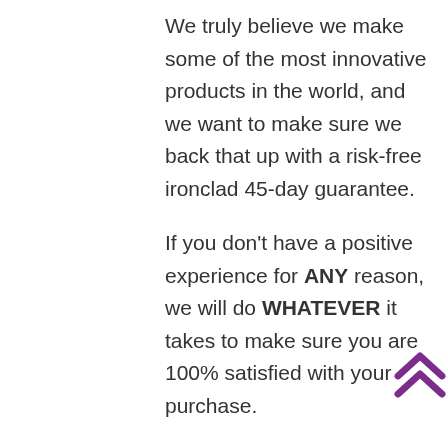We truly believe we make some of the most innovative products in the world, and we want to make sure we back that up with a risk-free ironclad 45-day guarantee.
If you don't have a positive experience for ANY reason, we will do WHATEVER it takes to make sure you are 100% satisfied with your purchase.
Buying items online can be a daunting task, so we want you to realize that there is absolutely ZERO risk in buying something and trying it out. If you don't like it, no hard feelings we'll make it right.
We have 24/7/365 Ticket and Email Support. Please contact us if you need